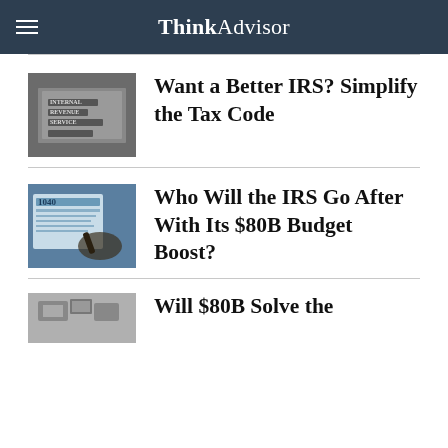ThinkAdvisor
Want a Better IRS? Simplify the Tax Code
Who Will the IRS Go After With Its $80B Budget Boost?
Will $80B Solve the